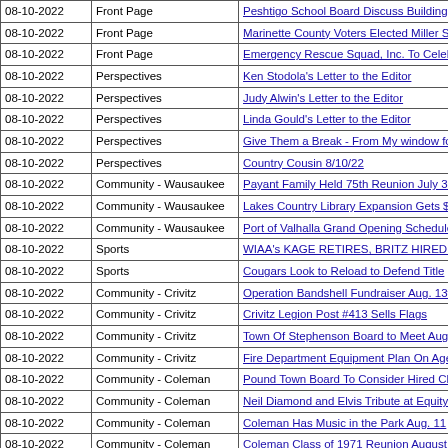| Date | Section | Title |
| --- | --- | --- |
| 08-10-2022 | Front Page | Peshtigo School Board Discuss Building Options |
| 08-10-2022 | Front Page | Marinette County Voters Elected Miller Sheriff, Br… |
| 08-10-2022 | Front Page | Emergency Rescue Squad, Inc. To Celebrate 75… |
| 08-10-2022 | Perspectives | Ken Stodola's Letter to the Editor |
| 08-10-2022 | Perspectives | Judy Alwin's Letter to the Editor |
| 08-10-2022 | Perspectives | Linda Gould's Letter to the Editor |
| 08-10-2022 | Perspectives | Give Them a Break - From My window for 8/10/22 |
| 08-10-2022 | Perspectives | Country Cousin 8/10/22 |
| 08-10-2022 | Community - Wausaukee | Payant Family Held 75th Reunion July 31 |
| 08-10-2022 | Community - Wausaukee | Lakes Country Library Expansion Gets $25,000 G… |
| 08-10-2022 | Community - Wausaukee | Port of Valhalla Grand Opening Scheduled for Sa… |
| 08-10-2022 | Sports | WIAA's KAGE RETIRES, BRITZ HIRED AS ADM… |
| 08-10-2022 | Sports | Cougars Look to Reload to Defend Title |
| 08-10-2022 | Community - Crivitz | Operation Bandshell Fundraiser Aug. 13th |
| 08-10-2022 | Community - Crivitz | Crivitz Legion Post #413 Sells Flags |
| 08-10-2022 | Community - Crivitz | Town Of Stephenson Board to Meet Aug. 10 |
| 08-10-2022 | Community - Crivitz | Fire Department Equipment Plan On Agenda For… |
| 08-10-2022 | Community - Coleman | Pound Town Board To Consider Hired Clerk, Trea… |
| 08-10-2022 | Community - Coleman | Neil Diamond and Elvis Tribute at Equity |
| 08-10-2022 | Community - Coleman | Coleman Has Music in the Park Aug. 11 |
| 08-10-2022 | Community - Coleman | Coleman Class of 1971 Reunion August 20th |